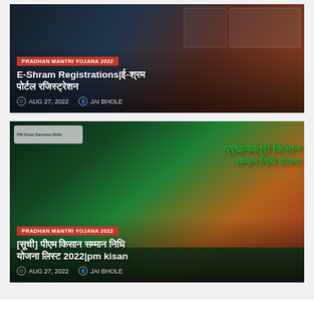[Figure (screenshot): Card 1: E-Shram Registration article thumbnail with red badge 'PRADHAN MANTRI YOJANA 2022', Hindi text heading, date AUG 27 2022, author JAI BHOLE]
E-Shram Registrations|ई-श्रम पोर्टल रजिस्ट्रेशन
AUG 27, 2022   JAI BHOLE
[Figure (screenshot): Card 2: PM Kisan Samman Nidhi Yojana article thumbnail with green Hindi text, red badge 'PRADHAN MANTRI YOJANA 2022', article title and date AUG 27 2022, author JAI BHOLE]
[सूची] पीएम किसान सम्मान निधि योजना लिस्ट 2022|pm kisan
AUG 27, 2022   JAI BHOLE